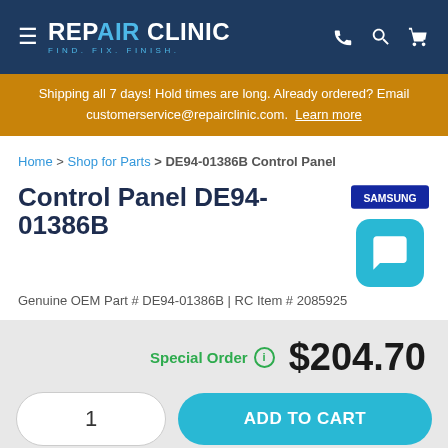REPAIR CLINIC — FIND. FIX. FINISH.
Shipping all 7 days! Hold times are long. Already ordered? Email customerservice@repairclinic.com. Learn more
Home > Shop for Parts > DE94-01386B Control Panel
Control Panel DE94-01386B
Genuine OEM Part # DE94-01386B | RC Item # 2085925
Special Order  $204.70
1  ADD TO CART